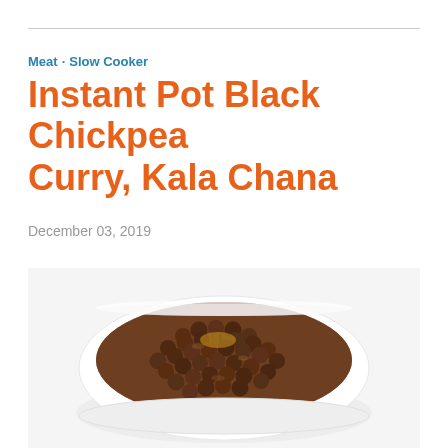Meat · Slow Cooker
Instant Pot Black Chickpea Curry, Kala Chana
December 03, 2019
[Figure (photo): Top-down photo of a white bowl filled with black chickpea curry (Kala Chana) in brown sauce with herbs, on a white background]